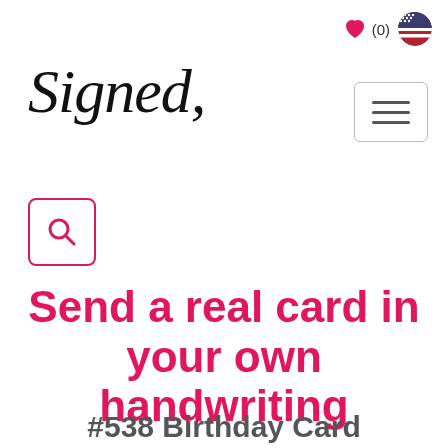❤ (0) 🇺🇸
[Figure (logo): Signed, cursive script logo in black italic font]
[Figure (other): Hamburger menu button with three horizontal lines, rounded rectangle border]
[Figure (other): Search icon button with magnifying glass, pink rounded border]
Send a real card in your own handwriting
#538 Birthday Card